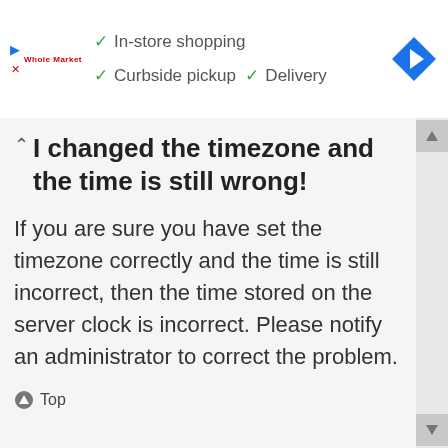[Figure (screenshot): Ad banner showing Whole Market store with checkmarks for In-store shopping, Curbside pickup, Delivery, and a blue diamond navigation icon]
I changed the timezone and the time is still wrong!
If you are sure you have set the timezone correctly and the time is still incorrect, then the time stored on the server clock is incorrect. Please notify an administrator to correct the problem.
Top